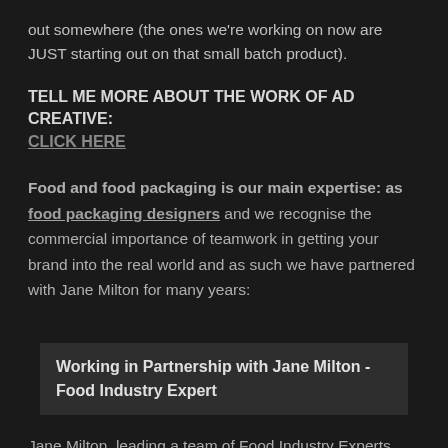out somewhere (the ones we're working on now are JUST starting out on that small batch product).
TELL ME MORE ABOUT THE WORK OF AD CREATIVE: CLICK HERE
Food and food packaging is our main expertise: as food packaging designers and we recognise the commercial importance of teamwork in getting your brand into the real world and as such we have partnered with Jane Milton for many years:
Working in Partnership with Jane Milton - Food Industry Expert
Jane Milton, leading a team of Food Industry Experts. Jane